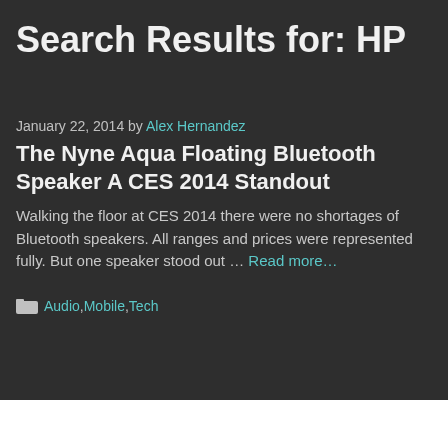Search Results for: HP
January 22, 2014 by Alex Hernandez
The Nyne Aqua Floating Bluetooth Speaker A CES 2014 Standout
Walking the floor at CES 2014 there were no shortages of Bluetooth speakers. All ranges and prices were represented fully. But one speaker stood out … Read more…
Audio, Mobile, Tech
January 17, 2014 by Alex Hernandez